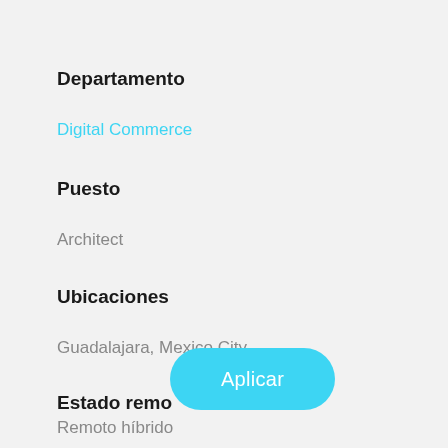Departamento
Digital Commerce
Puesto
Architect
Ubicaciones
Guadalajara, Mexico City
Estado remo
[Figure (other): Cyan rounded button with white text 'Aplicar']
Remoto híbrido